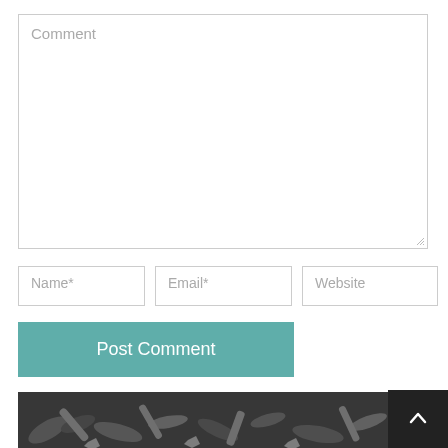Comment
Name*
Email*
Website
Post Comment
[Figure (photo): Black and white photo of metal tools, bolts, and hardware at bottom of page]